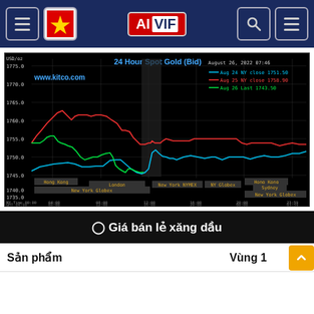[Figure (screenshot): AIVIF website navigation header bar with hamburger menu, Vietnamese flag icon, AIVIF logo in red, search icon, and hamburger menu on right side, dark navy background]
[Figure (line-chart): Three-line chart showing 24-hour spot gold price (bid) from kitco.com dated August 26, 2022 07:46. Blue line: Aug 24 NY close 1751.50; Red line: Aug 25 NY close 1758.90; Green line: Aug 26 Last 1743.50. Y-axis from 1735.0 to 1775.0. X-axis shows trading sessions: Hong Kong, London, New York Globex, New York NYMEX, NY Globex segments.]
⊙ Giá bán lẻ xăng dầu
| Sản phẩm | Vùng 1 | Vùng ... |
| --- | --- | --- |